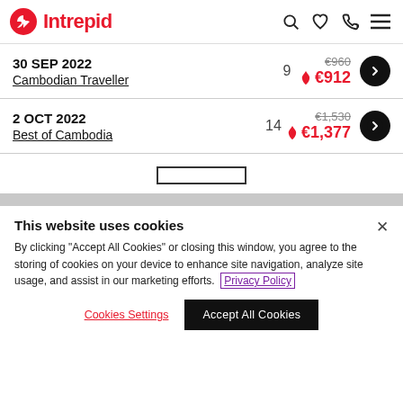Intrepid
30 SEP 2022 | Cambodian Traveller | 9 days | €960 original | €912 sale
2 OCT 2022 | Best of Cambodia | 14 days | €1,530 original | €1,377 sale
This website uses cookies
By clicking "Accept All Cookies" or closing this window, you agree to the storing of cookies on your device to enhance site navigation, analyze site usage, and assist in our marketing efforts. Privacy Policy
Cookies Settings | Accept All Cookies